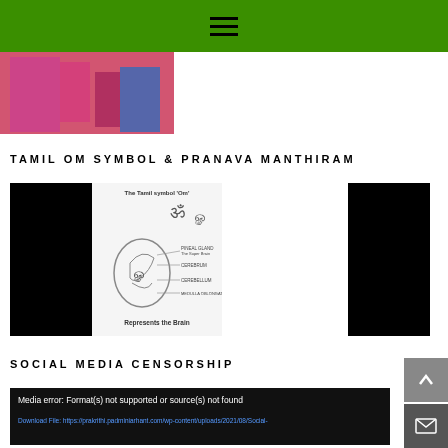Navigation menu (hamburger icon)
[Figure (photo): Photo of women in pink traditional clothing at an outdoor event]
TAMIL OM SYMBOL & PRANAVA MANTHIRAM
[Figure (illustration): Three images side by side: black panel, central diagram showing the Tamil Om symbol representing the brain with labels (Pineal Gland - The Super Brain, Cerebrum, Cerebellum, Medulla Oblongata) and text 'The Tamil symbol Om' and 'Represents the Brain', black panel]
SOCIAL MEDIA CENSORSHIP
Media error: Format(s) not supported or source(s) not found
Download File: https://prakrithi.padminiarhant.com/wp-content/uploads/2021/08/Social-